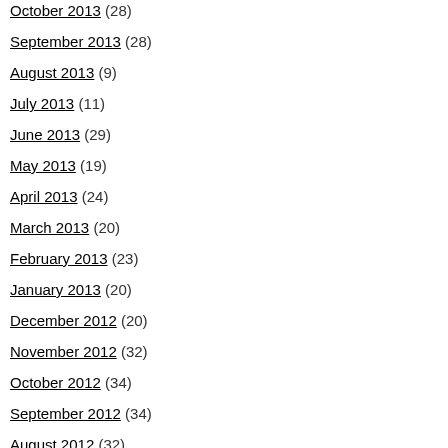October 2013 (28)
September 2013 (28)
August 2013 (9)
July 2013 (11)
June 2013 (29)
May 2013 (19)
April 2013 (24)
March 2013 (20)
February 2013 (23)
January 2013 (20)
December 2012 (20)
November 2012 (32)
October 2012 (34)
September 2012 (34)
August 2012 (32)
July 2012 (26)
school. Saint Joseph's College in Indiana i... at Saint Francis School of nursing. We spen... hopelessly in love with her, but too young to... after we finished our college.
I started college in August of 1956. St. Joe's... cornfield on the outskirts of Rensselaer, Ind... far north side of Chicago. Each of us lived a... daily. I looked forward to the mail with excit... how hard everything was, especially pop qu... from mine. I attended classes while she did...
My roommate in freshman year was my goo... I were bosom buddies. Geil, as I called him... entertain our ladies. We learned of the Jun... unusual thing, we joined the prom committe... volunteered for the prom committee. It was... enrollment of Saint Joe was eight hundred.
We worked every spare minute we could o... gymnasium into a Roman Garden. I painte... ancient Rome. These paintings were the ba... Rome.
Jim invited his girl and I invited Jacque. The... The girls had to stay in town at a boarding h...
The committee transformed the gym into th...